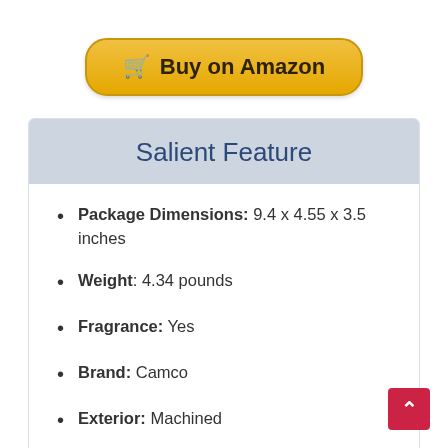[Figure (other): Buy on Amazon button with shopping cart icon, golden/amber color with rounded corners]
Salient Feature
Package Dimensions: 9.4 x 4.55 x 3.5 inches
Weight: 4.34 pounds
Fragrance: Yes
Brand: Camco
Exterior: Machined
Folding: No